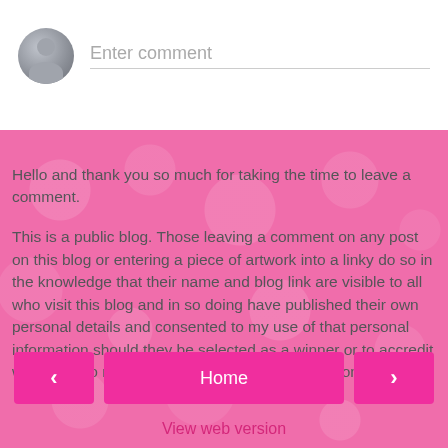[Figure (screenshot): Comment input box with avatar icon and 'Enter comment' placeholder text]
Hello and thank you so much for taking the time to leave a comment.
This is a public blog. Those leaving a comment on any post on this blog or entering a piece of artwork into a linky do so in the knowledge that their name and blog link are visible to all who visit this blog and in so doing have published their own personal details and consented to my use of that personal information should they be selected as a winner or to accredit work. We do not accept or publish anonymous comments.
Home
View web version